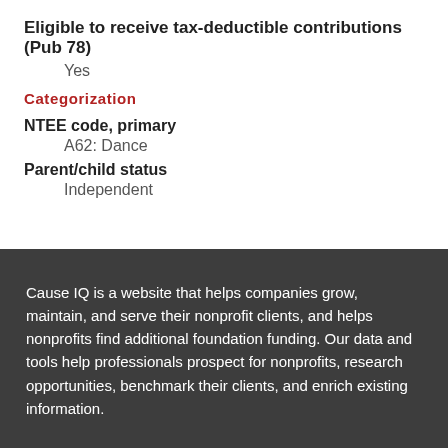Eligible to receive tax-deductible contributions (Pub 78)
Yes
Categorization
NTEE code, primary
A62: Dance
Parent/child status
Independent
Cause IQ is a website that helps companies grow, maintain, and serve their nonprofit clients, and helps nonprofits find additional foundation funding. Our data and tools help professionals prospect for nonprofits, research opportunities, benchmark their clients, and enrich existing information.